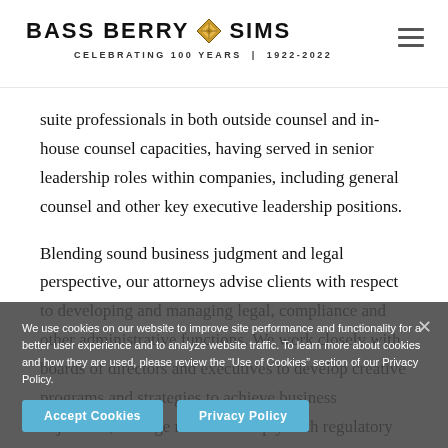BASS BERRY ✦ SIMS — CELEBRATING 100 YEARS | 1922-2022
suite professionals in both outside counsel and in-house counsel capacities, having served in senior leadership roles within companies, including general counsel and other key executive leadership positions.
Blending sound business judgment and legal perspective, our attorneys advise clients with respect to developing and managing legal, compliance and other administrative functions. We work closely with boards of directors and executives to develop creative programs and strategies to achieve business objectives, manage risk and comply with regulatory requirements. As outside counsel we encourage and advise...
We use cookies on our website to improve site performance and functionality for a better user experience and to analyze website traffic. To learn more about cookies and how they are used, please review the "Use of Cookies" section of our Privacy Policy.
Accept Cookies
Privacy Policy